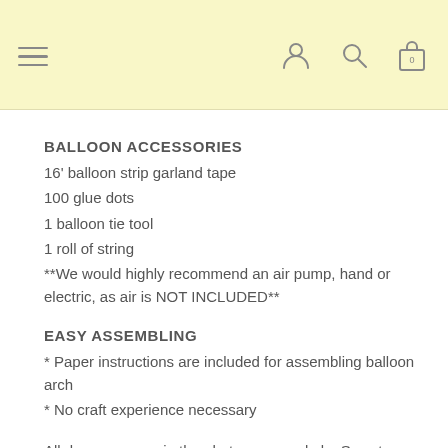Navigation header with hamburger menu and icons
BALLOON ACCESSORIES
16' balloon strip garland tape
100 glue dots
1 balloon tie tool
1 roll of string
**We would highly recommend an air pump, hand or electric, as air is NOT INCLUDED**
EASY ASSEMBLING
* Paper instructions are included for assembling balloon arch
* No craft experience necessary
All decor you see in the photos are made by Sweet